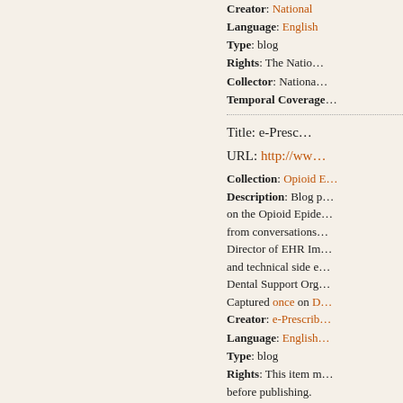Creator: National...
Language: English...
Type: blog
Rights: The Nation...
Collector: Nationa...
Temporal Coverage...
Title: e-Presc...
URL: http://ww...
Collection: Opioid E...
Description: Blog p... on the Opioid Epide... from conversations... Director of EHR Im... and technical side e... Dental Support Org... Captured once on D... Creator: e-Prescrib... Language: English... Type: blog Rights: This item m... before publishing. Collector: Nationa... Temporal Coverage...